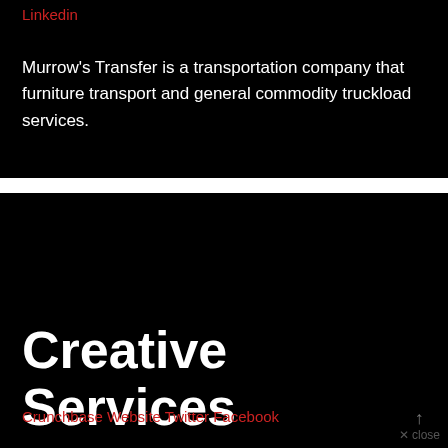Linkedin
Murrow's Transfer is a transportation company that furniture transport and general commodity truckload services.
Creative Services
Crunchbase Website Twitter Facebook Linkedin